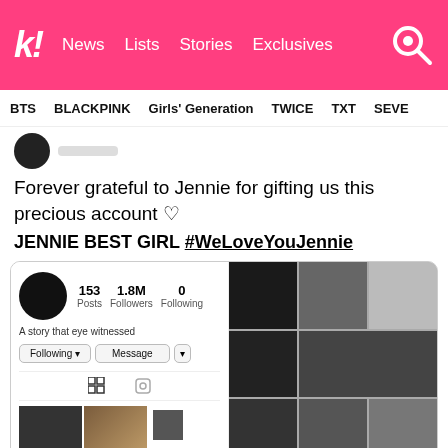k! News Lists Stories Exclusives
BTS BLACKPINK Girls' Generation TWICE TXT SEVE
Forever grateful to Jennie for gifting us this precious account ♡
JENNIE BEST GIRL #WeLoveYouJennie
[Figure (screenshot): Instagram profile screenshot showing account with 153 Posts, 1.8M Followers, 0 Following, bio text 'A story that eye witnessed', Following and Message buttons, grid icon, and photo thumbnails in black and white aesthetic]